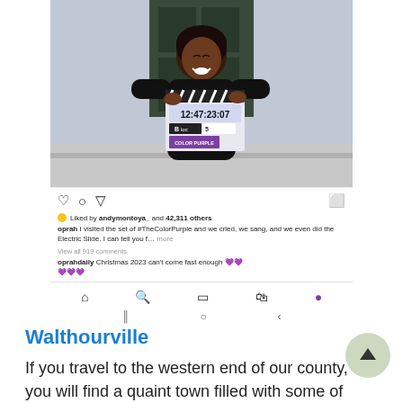[Figure (screenshot): Instagram screenshot showing Oprah Winfrey holding a film clapperboard for 'The Color Purple' movie set. Below the photo are Instagram action icons (heart, comment, share, bookmark), likes count 'Liked by andymontoya_ and 42,311 others', caption by 'oprah' about visiting the set of #TheColorPurple, a comment by 'oprahdaily' about Christmas 2023, and Instagram navigation bar icons.]
Walthourville
If you travel to the western end of our county, you will find a quaint town filled with some of the friendliest people around, and you will also find a historical marker that